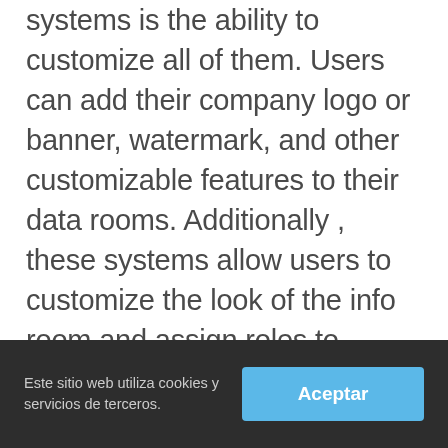systems is the ability to customize all of them. Users can add their company logo or banner, watermark, and other customizable features to their data rooms. Additionally , these systems allow users to customize the look of the info room and assign roles to various workers. The Spaces themselves can be pass word protected. Last but not least, these devices enable users to manage the documents with no trouble. These features make info room management a simple process, that help companies give protection
Este sitio web utiliza cookies y servicios de terceros. | Aceptar